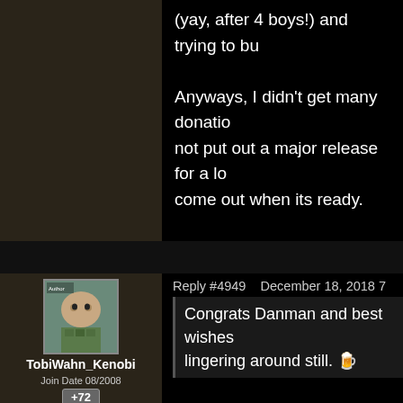(yay, after 4 boys!) and trying to bu
Anyways, I didn't get many donatio not put out a major release for a lo come out when its ready.
Thank you all for your continued su
DANMAN
Reply #4949    December 18, 2018 7
TobiWahn_Kenobi
Join Date 08/2008
+72
Congrats Danman and best wishes lingering around still. 🍺